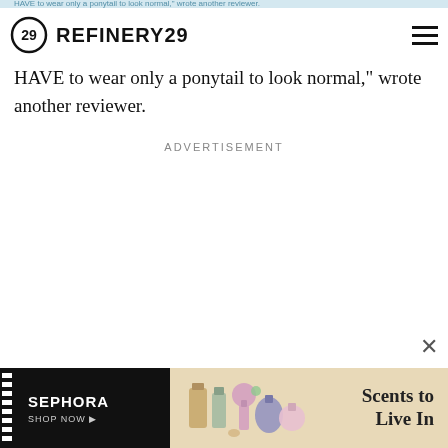REFINERY29
HAVE to wear only a ponytail to look normal," wrote another reviewer.
ADVERTISEMENT
[Figure (other): Sephora advertisement banner: black left panel with SEPHORA SHOP NOW text, beige right panel with perfume bottles and 'Scents to Live In' tagline]